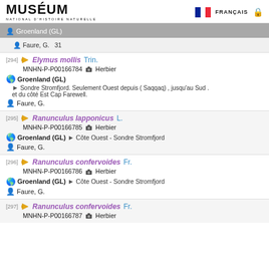MUSÉUM NATIONAL D'HISTOIRE NATURELLE | FRANÇAIS
Groenland (GL) | Faure, G. 31
[294] Elymus mollis Trin. | MNHN-P-P00166784 Herbier | Groenland (GL) | Sondre Stromfjord. Seulement Ouest depuis ( Saqqaq) , jusqu'au Sud . et du côté Est Cap Farewell. | Faure, G.
[295] Ranunculus lapponicus L. | MNHN-P-P00166785 Herbier | Groenland (GL) > Côte Ouest - Sondre Stromfjord | Faure, G.
[296] Ranunculus confervoides Fr. | MNHN-P-P00166786 Herbier | Groenland (GL) > Côte Ouest - Sondre Stromfjord | Faure, G.
[297] Ranunculus confervoides Fr. | MNHN-P-P00166787 Herbier